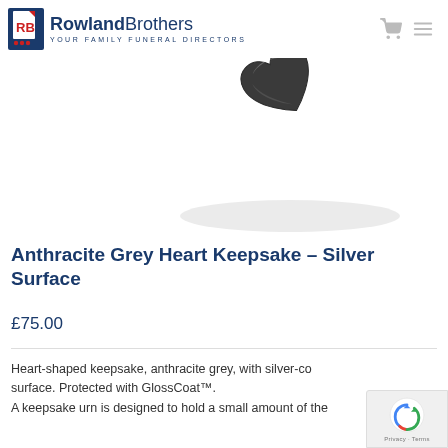[Figure (logo): Rowland Brothers funeral directors logo with dark blue square containing RB initials in red/white and three red dots, alongside company name and tagline 'Your Family Funeral Directors']
[Figure (photo): Partial view of an anthracite grey heart-shaped keepsake urn with silver surface finish, photographed against white background]
Anthracite Grey Heart Keepsake – Silver Surface
£75.00
Heart-shaped keepsake, anthracite grey, with silver-coated surface. Protected with GlossCoat™. A keepsake urn is designed to hold a small amount of the